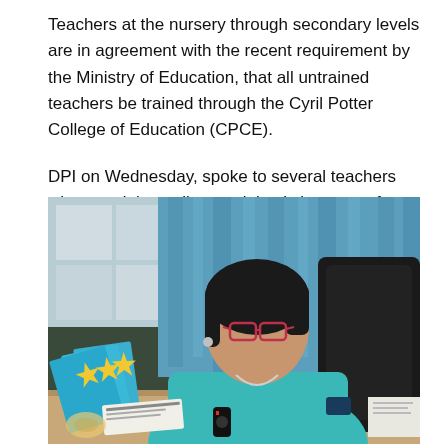Teachers at the nursery through secondary levels are in agreement with the recent requirement by the Ministry of Education, that all untrained teachers be trained through the Cyril Potter College of Education (CPCE).
DPI on Wednesday, spoke to several teachers who noted that college training is important for the delivery of quality education.
[Figure (photo): A woman wearing glasses and a teal/turquoise top sits at a desk with blue folders bearing yellow star designs in front of her. She is seated in a black chair with blue curtains in the background and a microphone on the desk.]